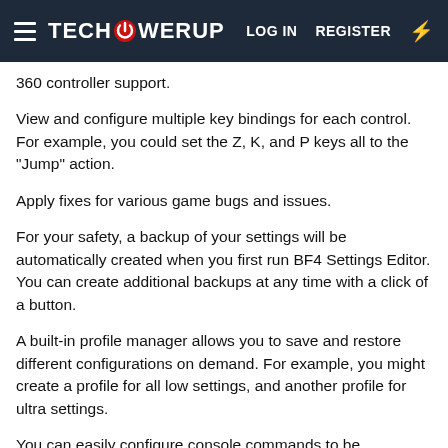TECHPOWERUP  LOG IN  REGISTER
360 controller support.
View and configure multiple key bindings for each control. For example, you could set the Z, K, and P keys all to the "Jump" action.
Apply fixes for various game bugs and issues.
For your safety, a backup of your settings will be automatically created when you first run BF4 Settings Editor. You can create additional backups at any time with a click of a button.
A built-in profile manager allows you to save and restore different configurations on demand. For example, you might create a profile for all low settings, and another profile for ultra settings.
You can easily configure console commands to be automatically entered into the game on start-up.